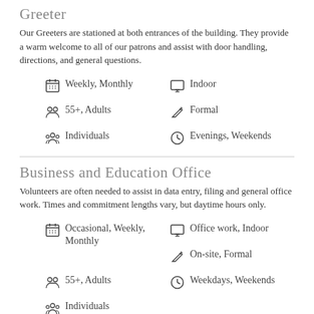Greeter
Our Greeters are stationed at both entrances of the building. They provide a warm welcome to all of our patrons and assist with door handling, directions, and general questions.
Weekly, Monthly
Indoor
55+, Adults
Formal
Individuals
Evenings, Weekends
Business and Education Office
Volunteers are often needed to assist in data entry, filing and general office work. Times and commitment lengths vary, but daytime hours only.
Occasional, Weekly, Monthly
Office work, Indoor
On-site, Formal
55+, Adults
Weekdays, Weekends
Individuals